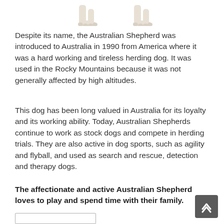[Figure (photo): Partial image of a dog (likely Australian Shepherd or similar light-colored breed) showing paws/legs at the top of the page]
Despite its name, the Australian Shepherd was introduced to Australia in 1990 from America where it was a hard working and tireless herding dog. It was used in the Rocky Mountains because it was not generally affected by high altitudes.
This dog has been long valued in Australia for its loyalty and its working ability. Today, Australian Shepherds continue to work as stock dogs and compete in herding trials. They are also active in dog sports, such as agility and flyball, and used as search and rescue, detection and therapy dogs.
The affectionate and active Australian Shepherd loves to play and spend time with their family.